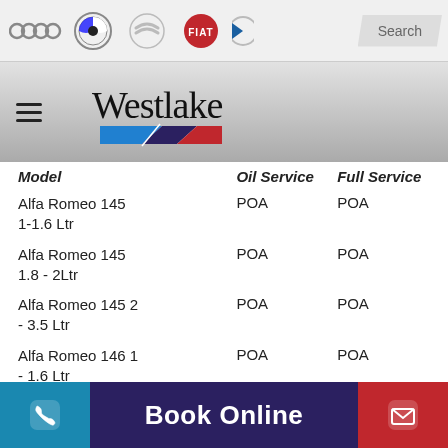[Figure (screenshot): Top navigation bar with car brand logos: Audi, BMW, Citroen, Fiat, and a partial logo, plus a Search button]
[Figure (logo): Westlake Motor Services Ltd logo with handwritten Westlake text and tri-color stripe (blue, red, white)]
| Model | Oil Service | Full Service |
| --- | --- | --- |
| Alfa Romeo 145 1-1.6 Ltr | POA | POA |
| Alfa Romeo 145 1.8 - 2Ltr | POA | POA |
| Alfa Romeo 145 2 - 3.5 Ltr | POA | POA |
| Alfa Romeo 146 1 - 1.6 Ltr | POA | POA |
| Alfa Romeo 146 | POA | POA |
Book Online